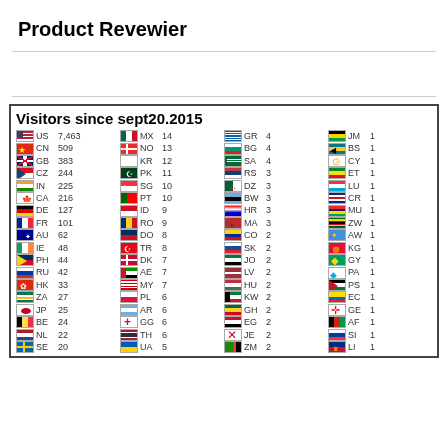Product Revewier
[Figure (infographic): Visitor statistics by country since Sept 20, 2015 with country flags, codes, and visitor counts. US 7,463; CN 509; GB 383; CZ 244; IN 225; CA 216; DE 127; FR 101; AU 62; IE 48; PH 44; RU 42; HK 33; ZA 27; JP 25; BE 24; NL 22; SE 20; MX 14; NO 13; KR 12; PK 11; SG 10; PT 10; ID 9; RO 9; DO 8; TR 8; DK 7; AE 7; MY 7; PL 6; AR 6; GG 6; TH 6; UA 5; GR 4; BG 4; SA 4; RS 3; DZ 3; BW 3; HR 3; MA 3; CO 2; SK 2; JO 2; LV 2; HU 2; KW 2; GH 2; EG 2; JE 2; ZM 2; JM 1; BS 1; CY 1; ET 1; LU 1; CR 1; MU 1; ZW 1; AW 1; KG 1; GY 1; PA 1; PS 1; EC 1; GE 1; AF 1; SI 1; LI 1]